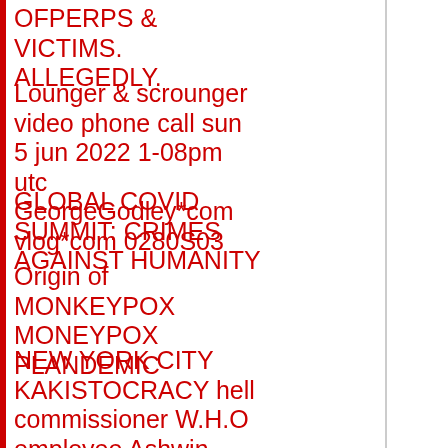OFPERPS & VICTIMS. ALLEGEDLY.
Lounger & scrounger video phone call sun 5 jun 2022 1-08pm utc GeorgeGodley*com vlog*com 0280S03
GLOBAL COVID SUMMIT: CRIMES AGAINST HUMANITY
Origin of MONKEYPOX MONEYPOX PLANDEMIC
NEW YORK CITY KAKISTOCRACY hell commissioner W.H.O employee Ashwin Vasan continues 99.9% survival covid CRIMES AGAINST HUMANITY 🔎🧑‍⚕️💉☠️ tue 17 may 2022
VLOG.COM TOP 100 ALTERNATIVE INDEPENDENT NEW MEDIA LINKS: ANTI PROPAGANDA